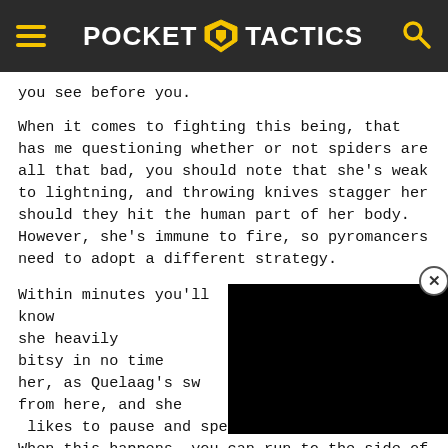POCKET TACTICS
you see before you.
When it comes to fighting this being, that has me questioning whether or not spiders are all that bad, you should note that she's weak to lightning, and throwing knives stagger her should they hit the human part of her body. However, she's immune to fire, so pyromancers need to adopt a different strategy.
Within minutes you'll know work, and given she heavily squash itsy bitsy in no time front of her, as Quelaag's sw dodge from here, and she likes to pause and spew a huge pool of lava. When this happens, you can run to the side of her and get some good hits in. It's important to note that these lava pools do stay for a while, so if possible, keep to the side of the...
[Figure (screenshot): Black video player overlay partially covering the third paragraph text]